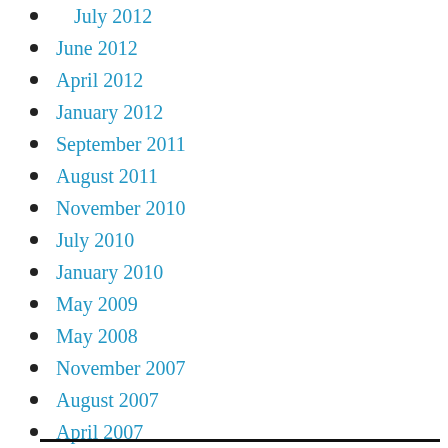July 2012
June 2012
April 2012
January 2012
September 2011
August 2011
November 2010
July 2010
January 2010
May 2009
May 2008
November 2007
August 2007
April 2007